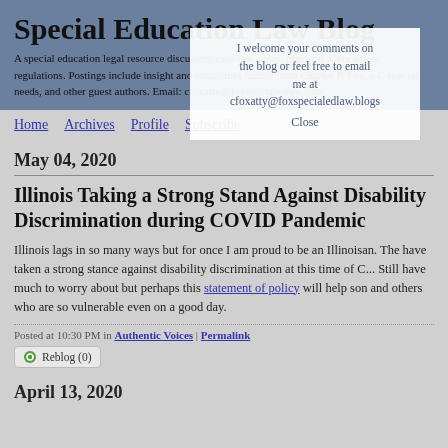Special Education Law Blog
A special education legal resource discussing case law, news, practical advocacy and regulations. Postings include insight and sometimes humor from Charles P. Fox, a special needs, and other guest authors. Email: cfoxatty@foxspecialedlaw.com
I welcome your comments on the blog or feel free to email me at cfoxatty@foxspecialedlaw.blogs Close
Home   Archives   Profile   Subscribe
May 04, 2020
Illinois Taking a Strong Stand Against Disability Discrimination during COVID Pandemic
Illinois lags in so many ways but for once I am proud to be an Illinoisan. The have taken a strong stance against disability discrimination at this time of C... Still have much to worry about but perhaps this statement of policy will help son and others who are so vulnerable even on a good day.
Posted at 10:30 PM in Authentic Voices | Permalink
Reblog (0)
April 13, 2020